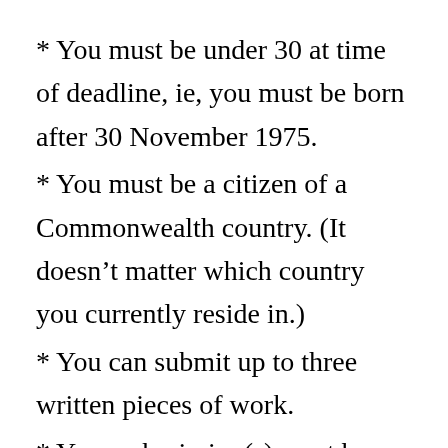* You must be under 30 at time of deadline, ie, you must be born after 30 November 1975.
* You must be a citizen of a Commonwealth country. (It doesn’t matter which country you currently reside in.)
* You can submit up to three written pieces of work.
* Your submission(s) must be either 350–500 words (approximately).